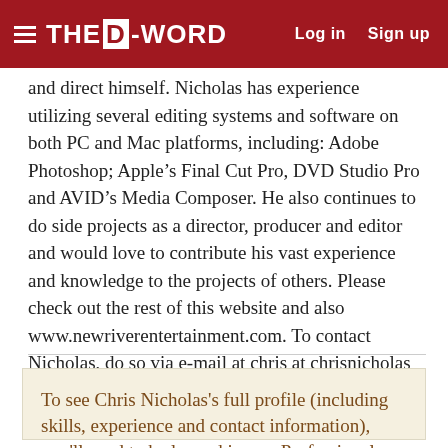THE D-WORD | Log in  Sign up
and direct himself. Nicholas has experience utilizing several editing systems and software on both PC and Mac platforms, including: Adobe Photoshop; Apple’s Final Cut Pro, DVD Studio Pro and AVID’s Media Composer. He also continues to do side projects as a director, producer and editor and would love to contribute his vast experience and knowledge to the projects of others. Please check out the rest of this website and also www.newriverentertainment.com. To contact Nicholas, do so via e-mail at chris at chrisnicholas dot net.
To see Chris Nicholas's full profile (including skills, experience and contact information), you'll need to be logged in as a Professional. JOIN or LOG IN